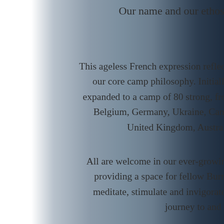Our name and our ethos are one in the same: Joie de Vivre!
This ageless French expression reflects our cheerful zest for life as well as our core camp philosophy. Initially just 20 'Joiers' in 2015, we have expanded to a camp of 80 strong, from places all over the globe; France, Belgium, Germany, Ukraine, Canada, Sweden, Norway, Korea, the United Kingdom, Australia and the United States.
All are welcome in our ever-growing family. This year, our focus is on providing a space for fellow Burning Man community members to meditate, stimulate and invigorate their bodies and minds along the journey to and from the playa, Burning...